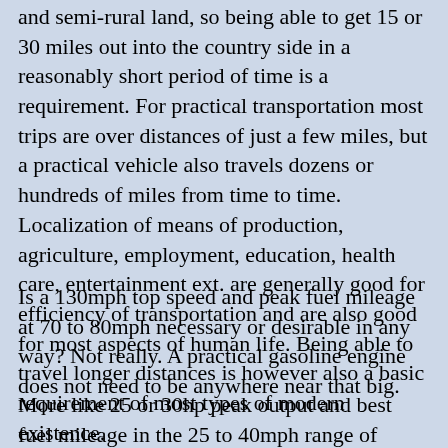and semi-rural land, so being able to get 15 or 30 miles out into the country side in a reasonably short period of time is a requirement. For practical transportation most trips are over distances of just a few miles, but a practical vehicle also travels dozens or hundreds of miles from time to time. Localization of means of production, agriculture, employment, education, health care, entertainment ext. are generally good for efficiency of transportation and are also good for most aspects of human life. Being able to travel longer distances is however also a basic requirement of most types of modern existence.
Is a 130mph top speed and peak fuel mileage at 70 to 80mph necessary or desirable in any way? Not really. A practical gasoline engine does not need to be anywhere near that big.
More like 25 or 30hp peak output and best fuel mileage in the 25 to 40mph range of speeds with the capability to reasonably effectively cruise at around 50mph. The